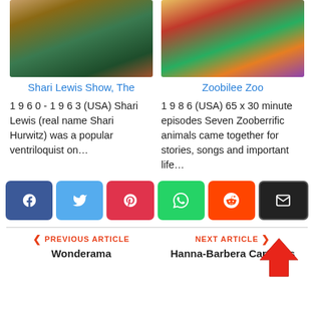[Figure (photo): Photo of Shari Lewis Show with puppet characters]
Shari Lewis Show, The
[Figure (photo): Photo of Zoobilee Zoo colorful animal characters]
Zoobilee Zoo
1 9 6 0 - 1 9 6 3 (USA) Shari Lewis (real name Shari Hurwitz) was a popular ventriloquist on...
1 9 8 6 (USA) 65 x 30 minute episodes Seven Zooberrific animals came together for stories, songs and important life...
[Figure (infographic): Social share buttons: Facebook, Twitter, Pinterest, WhatsApp, Reddit, Email]
< PREVIOUS ARTICLE
Wonderama
NEXT ARTICLE >
Hanna-Barbera Cartoons
[Figure (illustration): Red upward pointing arrow scroll-to-top button]